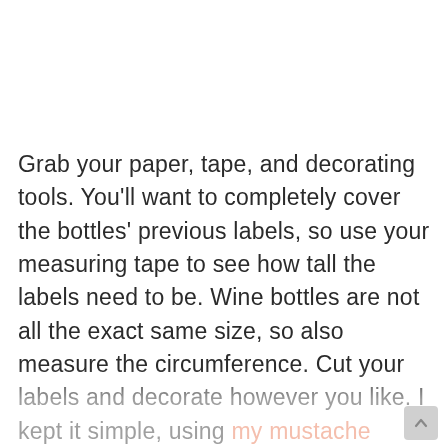Grab your paper, tape, and decorating tools. You'll want to completely cover the bottles' previous labels, so use your measuring tape to see how tall the labels need to be. Wine bottles are not all the exact same size, so also measure the circumference. Cut your labels and decorate however you like. I kept it simple, using my mustache stamp on each label. Once you have your labels how you want them, use a piece of tape to attach one end to the bottle, wrap it around, then use either another piece of tape or a glue stick to close it